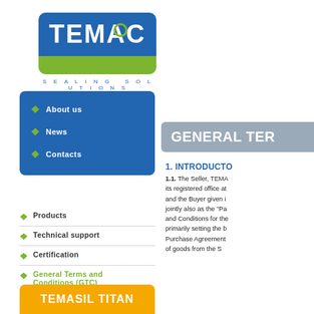[Figure (logo): TEMAC Sealing Solutions logo — blue rounded rectangle with white TEMAC text, green stripe at bottom, subtitle SEALING SOLUTIONS in blue below]
About us
News
Contacts
Products
Technical support
Certification
General Terms and Conditions (GTC)
Reference list
TEMASIL TITAN
GENERAL TER
1. INTRODUCTO
1.1. The Seller, TEMA its registered office at and the Buyer given i jointly also as the "Pa and Conditions for the primarily setting the b Purchase Agreement of goods from the S